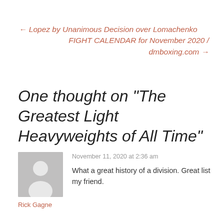← Lopez by Unanimous Decision over Lomachenko  FIGHT CALENDAR for November 2020 / dmboxing.com →
One thought on “The Greatest Light Heavyweights of All Time”
November 11, 2020 at 2:36 am
What a great history of a division. Great list my friend.
Rick Gagne